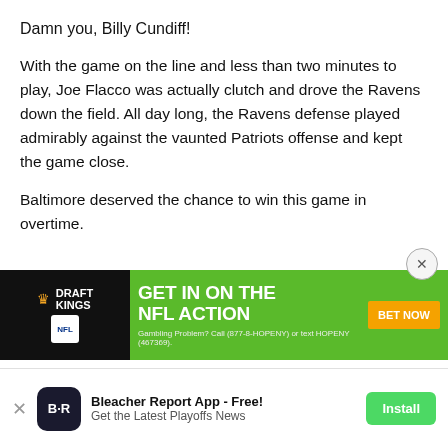Damn you, Billy Cundiff!
With the game on the line and less than two minutes to play, Joe Flacco was actually clutch and drove the Ravens down the field. All day long, the Ravens defense played admirably against the vaunted Patriots offense and kept the game close.
Baltimore deserved the chance to win this game in overtime.
[Figure (screenshot): DraftKings NFL advertisement banner with green background reading GET IN ON THE NFL ACTION with BET NOW button]
[Figure (screenshot): Bleacher Report App install banner at bottom: B|R logo, Bleacher Report App - Free!, Get the Latest Playoffs News, Install button]